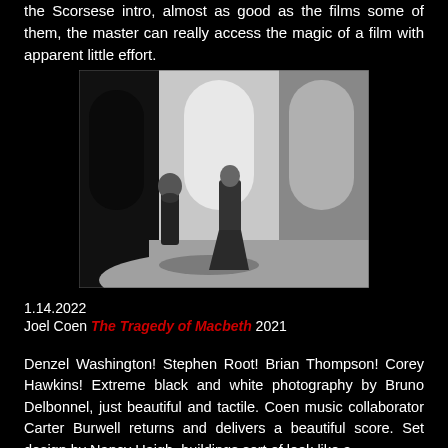the Scorsese intro, almost as good as the films some of them, the master can really access the magic of a film with apparent little effort.
[Figure (photo): Black and white film still showing two figures in a dramatic architectural setting with large arched openings. A man in dark clothing stands on the left, and a woman in an elaborate long gown stands center-right. Strong contrast lighting illuminates the stone floor and archways.]
1.14.2022
Joel Coen The Tragedy of Macbeth 2021
Denzel Washington! Stephen Root! Brian Thompson! Corey Hawkins! Extreme black and white photography by Bruno Delbonnel, just beautiful and tactile. Coen music collaborator Carter Burwell returns and delivers a beautiful score. Set design by Nancy Haigh, buildings sort of look like a